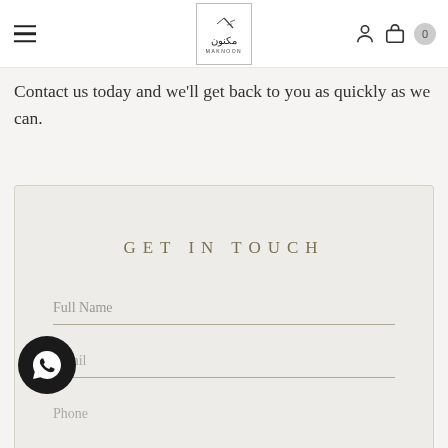Maknoon — navigation header with hamburger menu, logo, user icon, bag icon, and cart badge 0
Contact us today and we'll get back to you as quickly as we can.
GET IN TOUCH
Full Name
Email
Phone